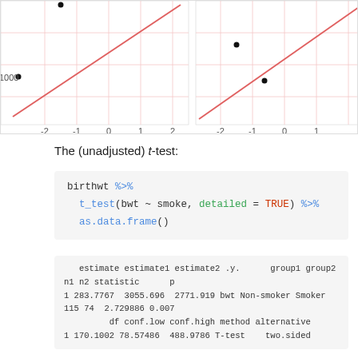[Figure (continuous-plot): Cropped top portion of Q-Q plots showing theoretical quantiles on x-axis, sample quantiles around 1000 on y-axis, with pink/red reference lines and black data points. Two panels visible, x-axis labeled 'Theoretical quantiles'.]
The (unadjusted) t-test:
birthwt %>%
  t_test(bwt ~ smoke, detailed = TRUE) %>%
  as.data.frame()
estimate estimate1 estimate2 .y.      group1 group2
n1 n2 statistic      p
1 283.7767  3055.696  2771.919 bwt Non-smoker Smoker
115 74  2.729886 0.007
          df conf.low conf.high method alternative
1 170.1002 78.57486  488.9786 T-test    two.sided
The final plot with annotation to highlight statistical difference (unadjusted):